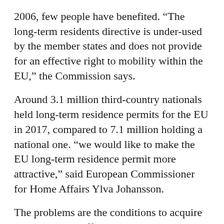2006, few people have benefited. “The long-term residents directive is under-used by the member states and does not provide for an effective right to mobility within the EU,” the Commission says.
Around 3.1 million third-country nationals held long-term residence permits for the EU in 2017, compared to 7.1 million holding a national one. “we would like to make the EU long-term residence permit more attractive,” said European Commissioner for Home Affairs Ylva Johansson.
The problems are the conditions to acquire the status, too difficult to meet, the barriers faced when moving in the EU, the lack of consistency in the rights of long-term residents and their family members and the lack of information about the...